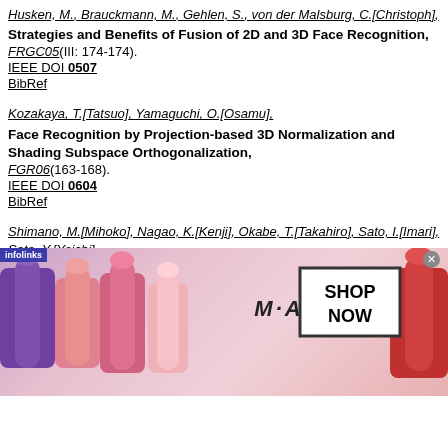Husken, M., Brauckmann, M., Gehlen, S., von der Malsburg, C.[Christoph], Strategies and Benefits of Fusion of 2D and 3D Face Recognition, FRGC05(III: 174-174). IEEE DOI 0507 BibRef
Kozakaya, T.[Tatsuo], Yamaguchi, O.[Osamu], Face Recognition by Projection-based 3D Normalization and Shading Subspace Orthogonalization, FGR06(163-168). IEEE DOI 0604 BibRef
Shimano, M.[Mihoko], Nagao, K.[Kenji], Okabe, T.[Takahiro], Sato, I.[Imari], Sato, Y.[Yoichi], Face Recognition Under Varying Illumination Based on NIR Estimation Incorporating Correlation Between
[Figure (photo): MAC cosmetics advertisement banner showing lipsticks with MAC logo and SHOP NOW box]